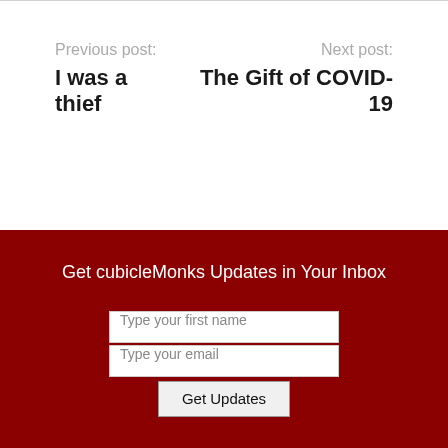Previous post: I was a thief
Next post: The Gift of COVID-19
Get cubicleMonks Updates in Your Inbox
Type your first name
Type your email
Get Updates